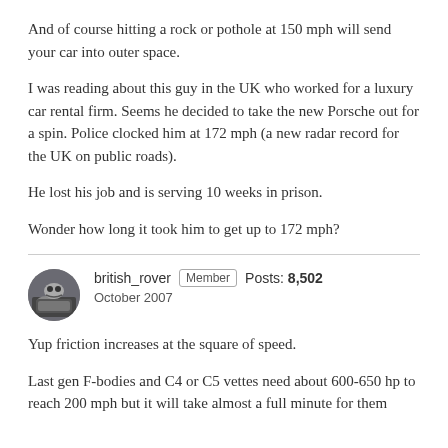And of course hitting a rock or pothole at 150 mph will send your car into outer space.
I was reading about this guy in the UK who worked for a luxury car rental firm. Seems he decided to take the new Porsche out for a spin. Police clocked him at 172 mph (a new radar record for the UK on public roads).
He lost his job and is serving 10 weeks in prison.
Wonder how long it took him to get up to 172 mph?
british_rover  Member  Posts: 8,502  October 2007
Yup friction increases at the square of speed.
Last gen F-bodies and C4 or C5 vettes need about 600-650 hp to reach 200 mph but it will take almost a full minute for them